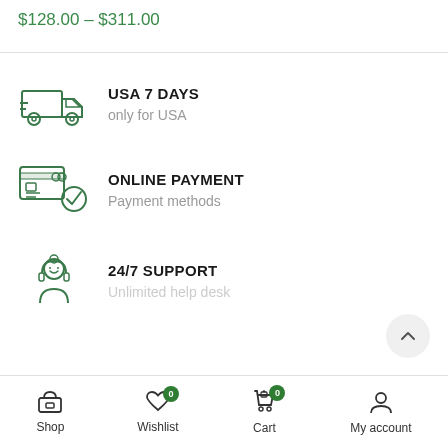$128.00 – $311.00
[Figure (illustration): Delivery truck icon (green outline style)]
USA 7 DAYS
only for USA
[Figure (illustration): Credit card with checkmark icon (green outline style)]
ONLINE PAYMENT
Payment methods
[Figure (illustration): Customer support person icon (green outline style)]
24/7 SUPPORT
Shop   Wishlist 0   Cart 0   My account